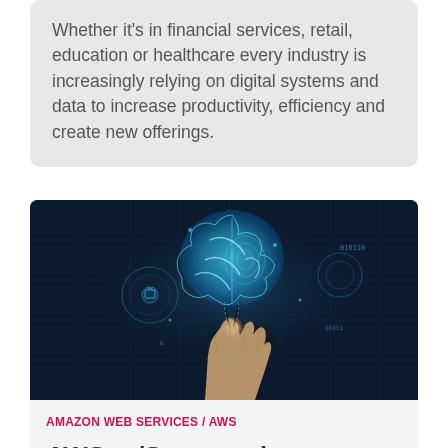Whether it's in financial services, retail, education or healthcare every industry is increasingly relying on digital systems and data to increase productivity, efficiency and create new offerings.
[Figure (photo): A hand holding a glowing digital brain with circuit patterns, representing artificial intelligence and technology, set against a dark blue background with digital interface elements.]
AMAZON WEB SERVICES / AWS
AWS re/Start graduates to help fill the skills gap in